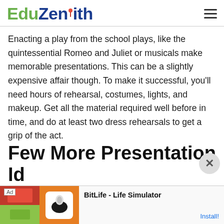EduZenith
Enacting a play from the school plays, like the quintessential Romeo and Juliet or musicals make memorable presentations. This can be a slightly expensive affair though. To make it successful, you'll need hours of rehearsal, costumes, lights, and makeup. Get all the material required well before in time, and do at least two dress rehearsals to get a grip of the act.
Few More Presentation Id...
[Figure (screenshot): Advertisement banner for BitLife - Life Simulator app showing colorful game imagery on the left and install button on the right]